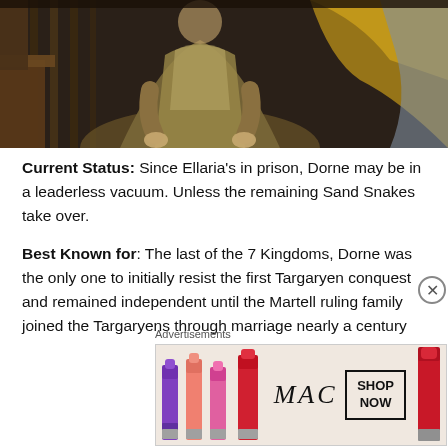[Figure (photo): A figure in medieval costume seated on an ornate wooden throne/chair, wearing elaborate robes, with golden/yellow fabric in the background. Scene appears to be from a fantasy TV show (Game of Thrones).]
Current Status: Since Ellaria's in prison, Dorne may be in a leaderless vacuum. Unless the remaining Sand Snakes take over.
Best Known for: The last of the 7 Kingdoms, Dorne was the only one to initially resist the first Targaryen conquest and remained independent until the Martell ruling family joined the Targaryens through marriage nearly a century
Advertisements
[Figure (photo): MAC Cosmetics advertisement showing colorful lipsticks with a SHOP NOW call to action box]